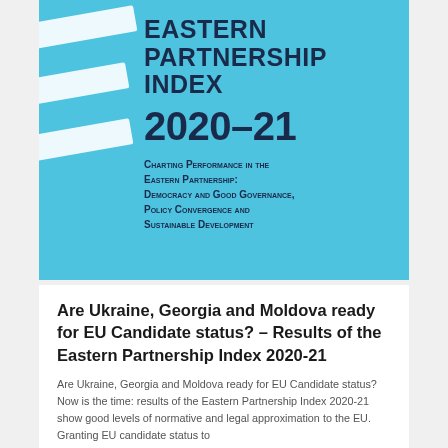[Figure (other): Cover of the Eastern Partnership Index 2020-21 report with cyan/light blue background, decorative white diagonal stripes on left, and bold dark blue text showing the report title and subtitle]
Are Ukraine, Georgia and Moldova ready for EU Candidate status? – Results of the Eastern Partnership Index 2020-21
Are Ukraine, Georgia and Moldova ready for EU Candidate status? Now is the time: results of the Eastern Partnership Index 2020-21 show good levels of normative and legal approximation to the EU. Granting EU candidate status to